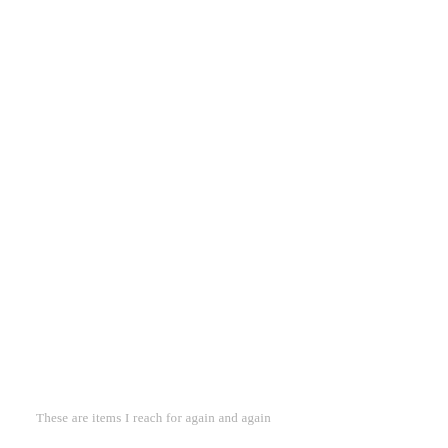These are items I reach for again and again